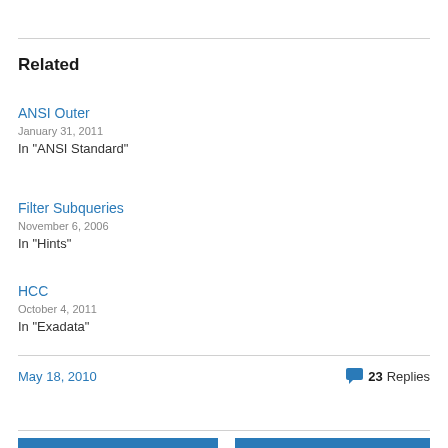Related
ANSI Outer
January 31, 2011
In "ANSI Standard"
Filter Subqueries
November 6, 2006
In "Hints"
HCC
October 4, 2011
In "Exadata"
May 18, 2010
23 Replies